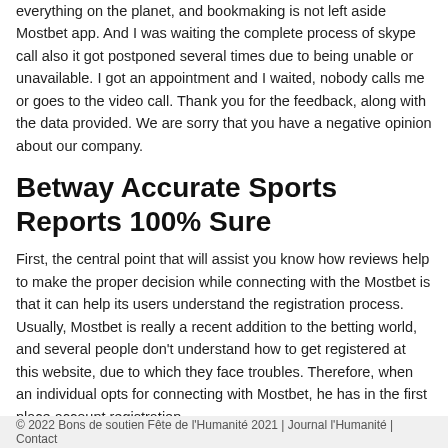everything on the planet, and bookmaking is not left aside Mostbet app. And I was waiting the complete process of skype call also it got postponed several times due to being unable or unavailable. I got an appointment and I waited, nobody calls me or goes to the video call. Thank you for the feedback, along with the data provided. We are sorry that you have a negative opinion about our company.
Betway Accurate Sports Reports 100% Sure
First, the central point that will assist you know how reviews help to make the proper decision while connecting with the Mostbet is that it can help its users understand the registration process. Usually, Mostbet is really a recent addition to the betting world, and several people don't understand how to get registered at this website, due to which they face troubles. Therefore, when an individual opts for connecting with Mostbet, he has in the first place account registration.
Posted in Non classé | Tagged Accurate Sports, Accurate Sports Reports, betting apps, casino site, gambling enterprise, sports betting
© 2022 Bons de soutien Fête de l'Humanité 2021 | Journal l'Humanité | Contact